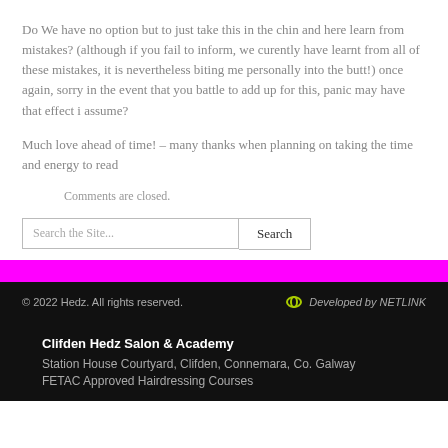Do We have no option but to just take this in the chin and here learn from mistakes? (although if you fail to inform, we curently have learnt from all of these mistakes, it is nevertheless biting me personally into the butt!) once again, sorry in the event that you battle to add up for this, panic may have that effect i assume?
Much love ahead of time! – many thanks when planning on taking the time and energy to read
Comments are closed.
© 2022 Hedz. All rights reserved.   Developed by NETLINK
Clifden Hedz Salon & Academy
Station House Courtyard, Clifden, Connemara, Co. Galway
FETAC Approved Hairdressing Courses